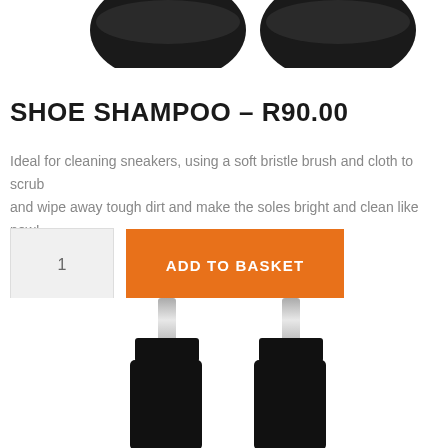[Figure (photo): Top portion of two black spray bottle caps/tops visible at the upper part of the page]
SHOE SHAMPOO – R90.00
Ideal for cleaning sneakers, using a soft bristle brush and cloth to scrub and wipe away tough dirt and make the soles bright and clean like new!
[Figure (other): Quantity selector box showing '1' and an orange 'ADD TO BASKET' button]
[Figure (photo): Two black spray bottles with clear nozzles photographed from above/front, partially cropped at bottom of page]